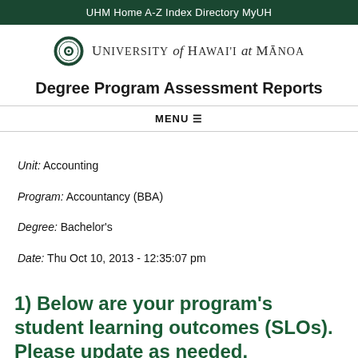UHM Home   A-Z Index   Directory   MyUH
[Figure (logo): University of Hawai'i at Manoa logo with circular seal and text]
Degree Program Assessment Reports
MENU ☰
Unit: Accounting
Program: Accountancy (BBA)
Degree: Bachelor's
Date: Thu Oct 10, 2013 - 12:35:07 pm
1) Below are your program's student learning outcomes (SLOs). Please update as needed.